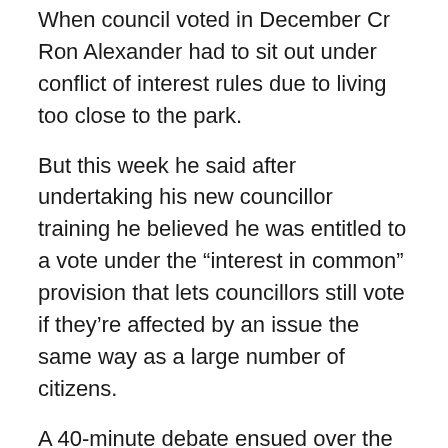When council voted in December Cr Ron Alexander had to sit out under conflict of interest rules due to living too close to the park.
But this week he said after undertaking his new councillor training he believed he was entitled to a vote under the “interest in common” provision that lets councillors still vote if they’re affected by an issue the same way as a large number of citizens.
A 40-minute debate ensued over the technicalities and he was eventually excluded from the vote and the decision to delay was lost 2:5, with just Crs Ioppolo and Ashley Wallace in favour.
That mirrors December’s vote to bring in the kiosk and oust the food trucks, auguring poorly for any chance future votes on Mr Young’s AGM motion will undo that decision.